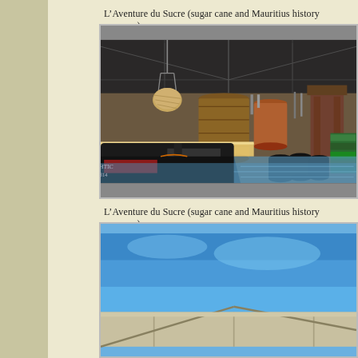L’Aventure du Sucre (sugar cane and Mauritius history museum)
[Figure (photo): Interior of L’Aventure du Sucre museum showing industrial sugar cane processing equipment including large wooden and copper vats, a dark barge/boat with text 'Ohtic 57304' in red, barrels, and a blue reflective floor simulating water, all under a large warehouse roof.]
L’Aventure du Sucre (sugar cane and Mauritius history museum)
[Figure (photo): Exterior or another view of L’Aventure du Sucre museum showing a bright blue sky with structural roofline elements visible at the bottom of the frame.]